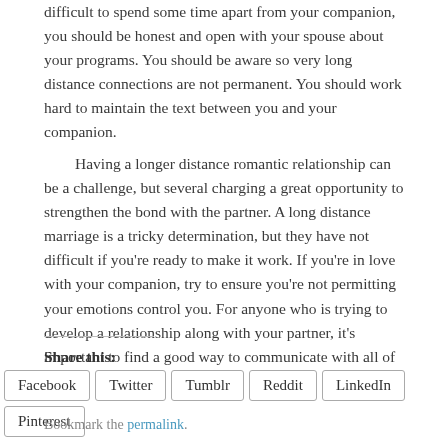difficult to spend some time apart from your companion, you should be honest and open with your spouse about your programs. You should be aware so very long distance connections are not permanent. You should work hard to maintain the text between you and your companion.
Having a longer distance romantic relationship can be a challenge, but several charging a great opportunity to strengthen the bond with the partner. A long distance marriage is a tricky determination, but they have not difficult if you're ready to make it work. If you're in love with your companion, try to ensure you're not permitting your emotions control you. For anyone who is trying to develop a relationship along with your partner, it's important to find a good way to communicate with all of them.
Share this:
Facebook Twitter Tumblr Reddit LinkedIn Pinterest
Bookmark the permalink.